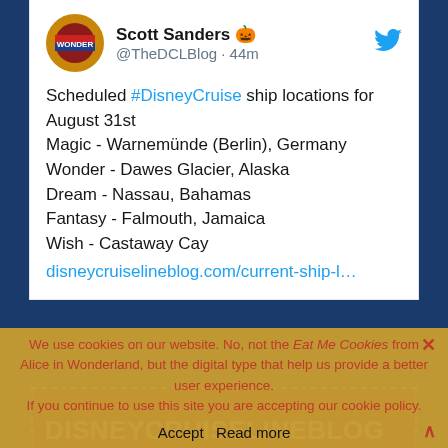Scott Sanders 🎃 @TheDCLBlog · 44m
Scheduled #DisneyCruise ship locations for August 31st
Magic - Warnemünde (Berlin), Germany
Wonder - Dawes Glacier, Alaska
Dream - Nassau, Bahamas
Fantasy - Falmouth, Jamaica
Wish - Castaway Cay
disneycruiselineblog.com/current-ship-l…
[Figure (screenshot): Disney Cruise Line Blog banner with red background and white text]
We use cookies on our website. No, not the Eat Me Cookies from Alice in Wonderland, but the digital type that help us provide a better user experience. If you continue to use this site you are accepting our cookie policy. Accept  Read more